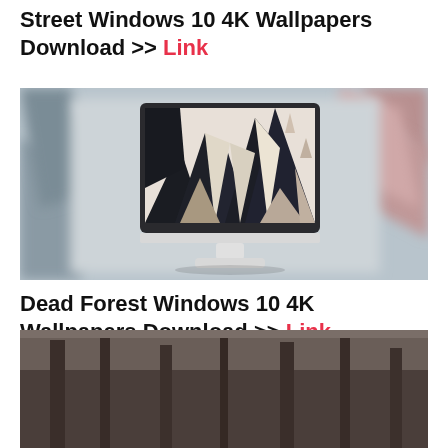Street Windows 10 4K Wallpapers Download >> Link
[Figure (illustration): A desktop monitor displaying an abstract/geometric dark forest wallpaper with angular black shapes against a light background, surrounded by a blurred version of the same wallpaper art]
Dead Forest Windows 10 4K Wallpapers Download >> Link
[Figure (photo): Bottom portion of a dark/grey scene, partially cropped]